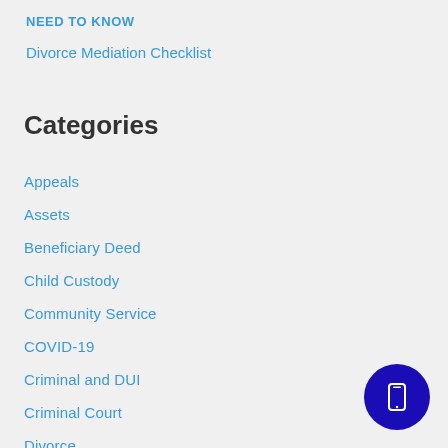NEED TO KNOW
Divorce Mediation Checklist
Categories
Appeals
Assets
Beneficiary Deed
Child Custody
Community Service
COVID-19
Criminal and DUI
Criminal Court
Divorce
Domestic Violence
[Figure (illustration): Dark blue circular FAB button with a mobile phone icon in white]